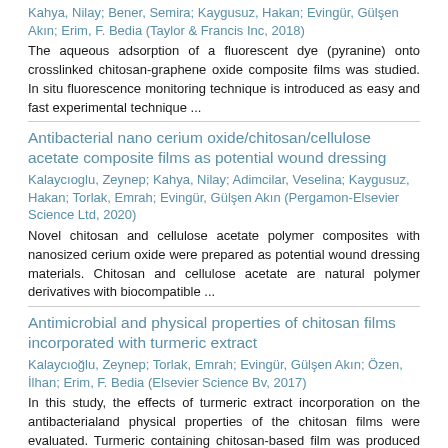Kahya, Nilay; Bener, Semira; Kaygusuz, Hakan; Evingür, Gülşen Akın; Erim, F. Bedia (Taylor & Francis Inc, 2018)
The aqueous adsorption of a fluorescent dye (pyranine) onto crosslinked chitosan-graphene oxide composite films was studied. In situ fluorescence monitoring technique is introduced as easy and fast experimental technique ...
Antibacterial nano cerium oxide/chitosan/cellulose acetate composite films as potential wound dressing
Kalaycıoglu, Zeynep; Kahya, Nilay; Adimcilar, Veselina; Kaygusuz, Hakan; Torlak, Emrah; Evingür, Gülşen Akın (Pergamon-Elsevier Science Ltd, 2020)
Novel chitosan and cellulose acetate polymer composites with nanosized cerium oxide were prepared as potential wound dressing materials. Chitosan and cellulose acetate are natural polymer derivatives with biocompatible ...
Antimicrobial and physical properties of chitosan films incorporated with turmeric extract
Kalaycıoğlu, Zeynep; Torlak, Emrah; Evingür, Gülşen Akın; Özen, İlhan; Erim, F. Bedia (Elsevier Science Bv, 2017)
In this study, the effects of turmeric extract incorporation on the antibacterialand physical properties of the chitosan films were evaluated. Turmeric containing chitosan-based film was produced with casting ...